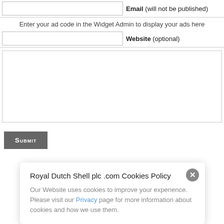Email (will not be published)
Enter your ad code in the Widget Admin to display your ads here
Website (optional)
Submit
Royal Dutch Shell plc .com Cookies Policy
Our Website uses cookies to improve your experience. Please visit our Privacy page for more information about cookies and how we use them.